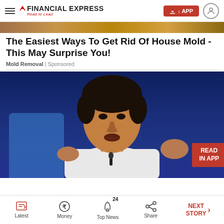FINANCIAL EXPRESS Read to Lead
[Figure (photo): Ad banner strip at top of page]
The Easiest Ways To Get Rid Of House Mold - This May Surprise You!
Mold Removal | Sponsored
[Figure (photo): Man in white shirt gesturing and speaking at a press conference against dark blue background, with READ IN APP button overlay]
Latest | Money | Top News 24 | Share | NEXT STORY